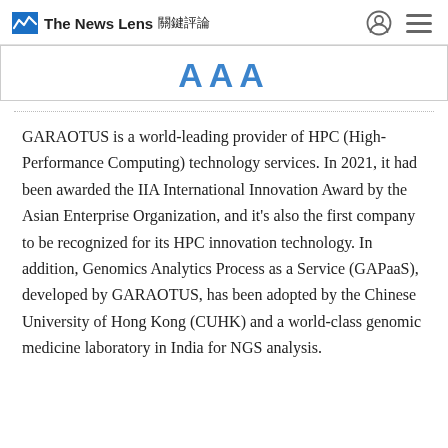The News Lens 關鍵評論
[Figure (other): Partially visible image strip with stylized text 'AAA' in blue, cropped at top]
GARAOTUS is a world-leading provider of HPC (High-Performance Computing) technology services. In 2021, it had been awarded the IIA International Innovation Award by the Asian Enterprise Organization, and it's also the first company to be recognized for its HPC innovation technology. In addition, Genomics Analytics Process as a Service (GAPaaS), developed by GARAOTUS, has been adopted by the Chinese University of Hong Kong (CUHK) and a world-class genomic medicine laboratory in India for NGS analysis.